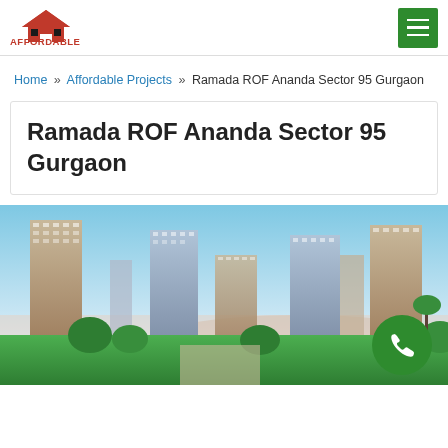Affordable Property Market
Home » Affordable Projects » Ramada ROF Ananda Sector 95 Gurgaon
Ramada ROF Ananda Sector 95 Gurgaon
[Figure (photo): Exterior rendering of Ramada ROF Ananda residential towers in Sector 95 Gurgaon showing multiple high-rise apartment buildings with landscaped grounds and blue sky]